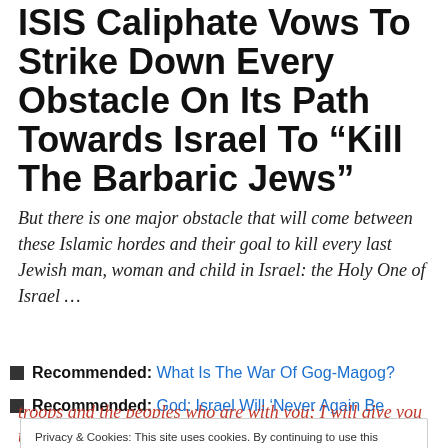ISIS Caliphate Vows To Strike Down Every Obstacle On Its Path Towards Israel To “Kill The Barbaric Jews”
But there is one major obstacle that will come between these Islamic hordes and their goal to kill every last Jewish man, woman and child in Israel: the Holy One of Israel …
Recommended: What Is The War Of Gog-Magog?
Recommended: God: Israel Will ‘Never Again Be
Privacy & Cookies: This site uses cookies. By continuing to use this website, you agree to their use. To find out more, including how to control cookies, see here: Cookie Policy
troops and the peoples who are with you; I will give you to